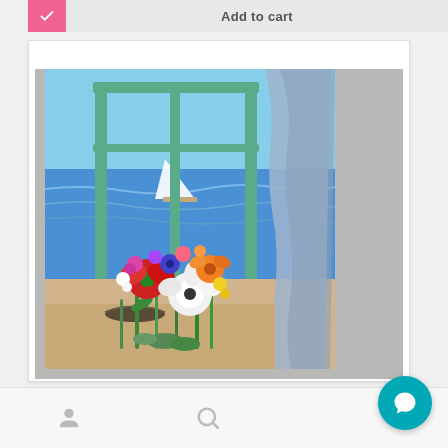[Figure (screenshot): E-commerce mobile app UI showing: top bar with pink heart/wishlist button and 'Add to cart' button, a large product image card showing a painting of flowers in front of a window with a sea view and sailboat, a bottom navigation bar with user profile icon, search icon, and a teal chat/support button.]
Add to cart
[Figure (photo): A painting depicting colorful bouquet of flowers in the foreground with a green-framed window opening to a blue sea scene with a sailboat, and a grey curtain to the right.]